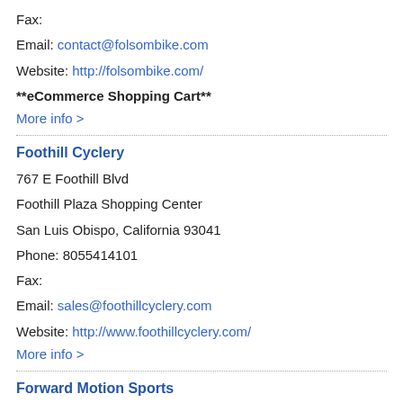Fax:
Email: contact@folsombike.com
Website: http://folsombike.com/
**eCommerce Shopping Cart**
More info >
Foothill Cyclery
767 E Foothill Blvd
Foothill Plaza Shopping Center
San Luis Obispo, California 93041
Phone: 8055414101
Fax:
Email: sales@foothillcyclery.com
Website: http://www.foothillcyclery.com/
More info >
Forward Motion Sports